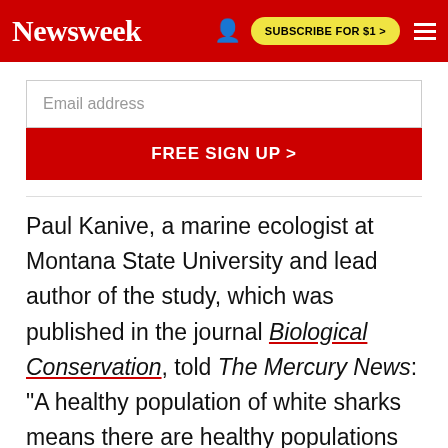Newsweek | SUBSCRIBE FOR $1 >
Email address
FREE SIGN UP >
Paul Kanive, a marine ecologist at Montana State University and lead author of the study, which was published in the journal Biological Conservation, told The Mercury News: "A healthy population of white sharks means there are healthy populations of the sea lions and elephant seals they eat.